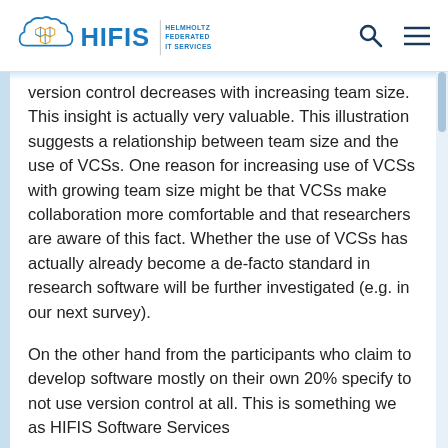HIFIS – Helmholtz Federated IT Services
version control decreases with increasing team size. This insight is actually very valuable. This illustration suggests a relationship between team size and the use of VCSs. One reason for increasing use of VCSs with growing team size might be that VCSs make collaboration more comfortable and that researchers are aware of this fact. Whether the use of VCSs has actually already become a de-facto standard in research software will be further investigated (e.g. in our next survey).
On the other hand from the participants who claim to develop software mostly on their own 20% specify to not use version control at all. This is something we as HIFIS Software Services